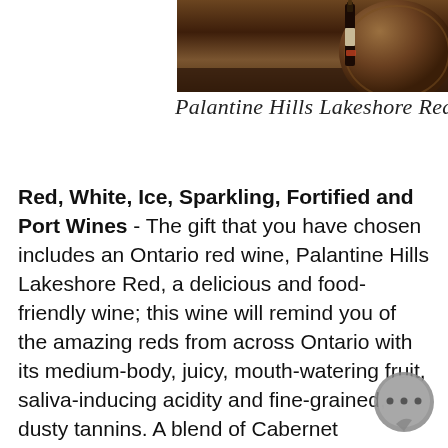[Figure (photo): Photo of wine bottle and barrel on a wooden surface with dark rustic background]
Palantine Hills Lakeshore Red
Red, White, Ice, Sparkling, Fortified and Port Wines - The gift that you have chosen includes an Ontario red wine, Palantine Hills Lakeshore Red, a delicious and food-friendly wine; this wine will remind you of the amazing reds from across Ontario with its medium-body, juicy, mouth-watering fruit, saliva-inducing acidity and fine-grained, dusty tannins. A blend of Cabernet Sauvignon, Baco Noir, Merlot, and Gewurztraminer. This red wine is a fruit forward blend with aromas of blackberry, black currant and plum.
[Figure (illustration): Chat bubble icon with three dots]